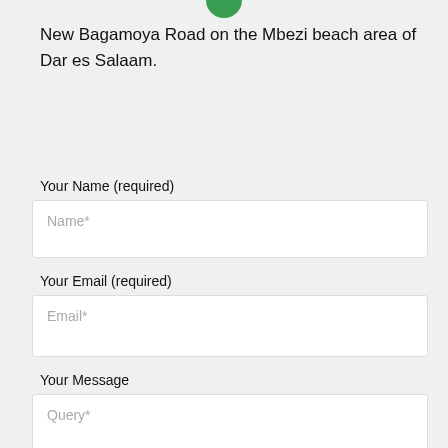[Figure (logo): Green semicircle logo at top center]
New Bagamoya Road on the Mbezi beach area of Dar es Salaam.
Your Name (required)
Name*
Your Email (required)
Email*
Your Message
Query*